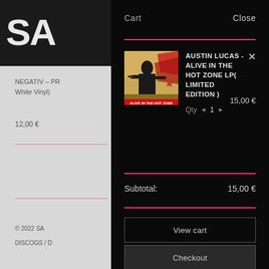Cart    Close
[Figure (photo): Album cover for Austin Lucas - Alive in the Hot Zone LP, showing a stylized illustration of a person with red graphic design elements on a beige/yellow background]
AUSTIN LUCAS - ALIVE IN THE HOT ZONE LP( LIMITED EDITION )
Qty ◄ 1 ► 15,00 €
Subtotal: 15,00 €
View cart
Checkout
NEGATIV – PR... White Vinyl)
12,00 €
© 2022 SA...
DISCOGS / D...